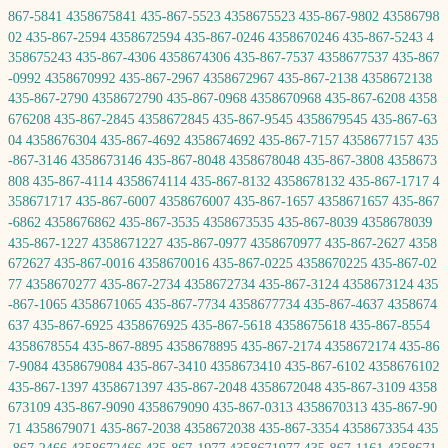867-5841 4358675841 435-867-5523 4358675523 435-867-9802 4358679802 435-867-2594 4358672594 435-867-0246 4358670246 435-867-5243 4358675243 435-867-4306 4358674306 435-867-7537 4358677537 435-867-0992 4358670992 435-867-2967 4358672967 435-867-2138 4358672138 435-867-2790 4358672790 435-867-0968 4358670968 435-867-6208 4358676208 435-867-2845 4358672845 435-867-9545 4358679545 435-867-6304 4358676304 435-867-4692 4358674692 435-867-7157 4358677157 435-867-3146 4358673146 435-867-8048 4358678048 435-867-3808 4358673808 435-867-4114 4358674114 435-867-8132 4358678132 435-867-1717 4358671717 435-867-6007 4358676007 435-867-1657 4358671657 435-867-6862 4358676862 435-867-3535 4358673535 435-867-8039 4358678039 435-867-1227 4358671227 435-867-0977 4358670977 435-867-2627 4358672627 435-867-0016 4358670016 435-867-0225 4358670225 435-867-0277 4358670277 435-867-2734 4358672734 435-867-3124 4358673124 435-867-1065 4358671065 435-867-7734 4358677734 435-867-4637 4358674637 435-867-6925 4358676925 435-867-5618 4358675618 435-867-8554 4358678554 435-867-8895 4358678895 435-867-2174 4358672174 435-867-9084 4358679084 435-867-3410 4358673410 435-867-6102 4358676102 435-867-1397 4358671397 435-867-2048 4358672048 435-867-3109 4358673109 435-867-9090 4358679090 435-867-0313 4358670313 435-867-9071 4358679071 435-867-2038 4358672038 435-867-3354 4358673354 435-867-2466 4358672466 435-867-1977 4358671977 435-867-1161 4358671161 435-867-2800 4358672800 435-867-2838 4358672838 435-867-4664 4358674664 435-867-2903 4358672903 435-867-0231 4358670231 435-